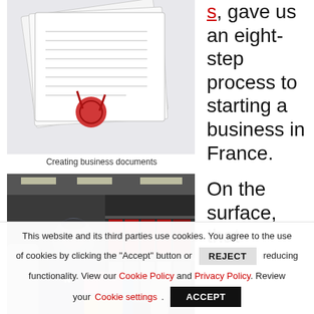[Figure (photo): A stack of official-looking business documents with a red wax seal, on a white background.]
Creating business documents
[Figure (photo): A person in a store carrying a large blue DYNEX box, shopping in a big-box electronics retail store.]
s, gave us an eight-step process to starting a business in France.

On the surface, that
This website and its third parties use cookies. You agree to the use of cookies by clicking the "Accept" button or REJECT reducing functionality. View our Cookie Policy and Privacy Policy. Review your Cookie settings. ACCEPT